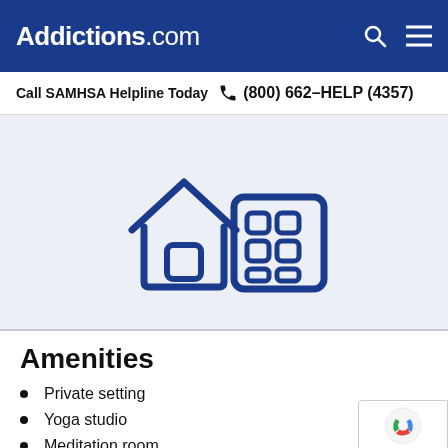Addictions.com
Call SAMHSA Helpline Today  (800) 662-HELP (4357)
[Figure (illustration): Icon of a house with a window/door and a multi-story building with grid windows, rendered in dark blue outline style on a light grey background]
Amenities
Private setting
Yoga studio
Meditation room